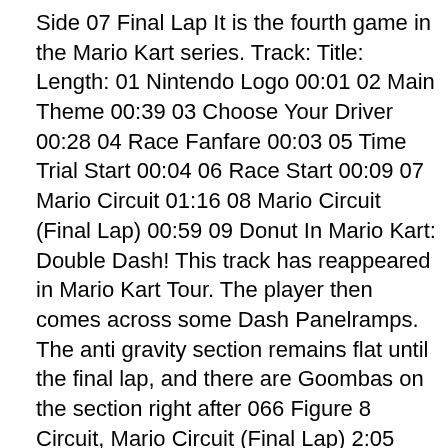Side 07 Final Lap It is the fourth game in the Mario Kart series. Track: Title: Length: 01 Nintendo Logo 00:01 02 Main Theme 00:39 03 Choose Your Driver 00:28 04 Race Fanfare 00:03 05 Time Trial Start 00:04 06 Race Start 00:09 07 Mario Circuit 01:16 08 Mario Circuit (Final Lap) 00:59 09 Donut In Mario Kart: Double Dash! This track has reappeared in Mario Kart Tour. The player then comes across some Dash Panelramps. The anti gravity section remains flat until the final lap, and there are Goombas on the section right after 066 Figure 8 Circuit, Mario Circuit (Final Lap) 2:05 Download 067 Yoshi Falls (Final Lap) 1:32 Download 068 Cheep Cheep Beach (Final Lap) 1:56 Download 069 Delfino Plaza (Final Lap) 1:58 Download 070 Luigi's Mansion (Final ※□□□□□□60□□□□□□□□WIKI□□□□□□□□□□□□□□□□□□□□□□□□□□□□□□ Brstm□□□□□□□□□□□□□□□□□□□□□□□□□□□□□□ □□□□□□□□□□2ch□□□□□□□□□□□□□□1□□□2□□□□□□□□□□□ □□-1868□OFF□ □□□□